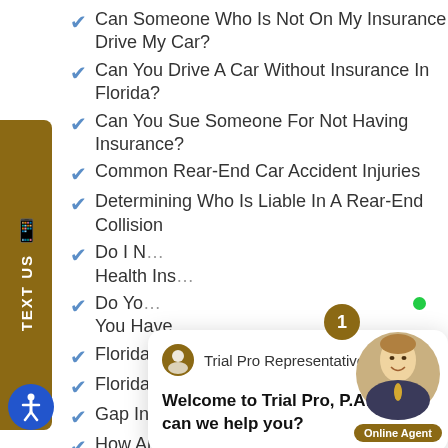Can Someone Who Is Not On My Insurance Drive My Car?
Can You Drive A Car Without Insurance In Florida?
Can You Sue Someone For Not Having Insurance?
Common Rear-End Car Accident Injuries
Determining Who Is Liable In A Rear-End Collision
Do I N... Health Ins...
Do Yo... You Have...
Florida Texting And Driving Laws
Florida Trailer Insurance And Laws
Gap Insurance FAQS
How Are Electric Scooters Impacting
How Can I Drive Without Insurance?
How Can You Prevent Serious Injury During A...
[Figure (screenshot): Trial Pro Representative chat popup with message: Welcome to Trial Pro, P.A! How can we help you?]
[Figure (other): Online Agent avatar with green online dot, notification badge showing 1, and Online Agent label]